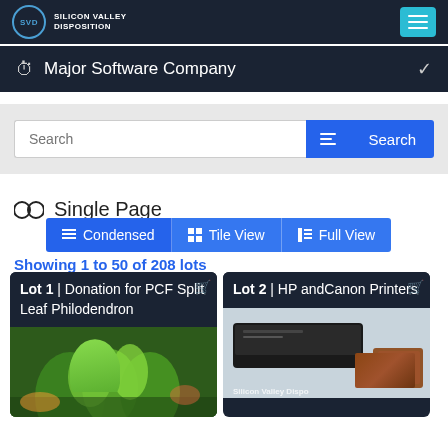SVD SILICON VALLEY DISPOSITION
Major Software Company
Search
Single Page
Condensed | Tile View | Full View
Showing 1 to 50 of 208 lots
Lot 1 | Donation for PCF Split Leaf Philodendron
[Figure (photo): Photo of green tropical split leaf philodendron plant]
Lot 2 | HP andCanon Printers
[Figure (photo): Photo of HP and Canon printers on a desk, Silicon Valley Disposition watermark visible]